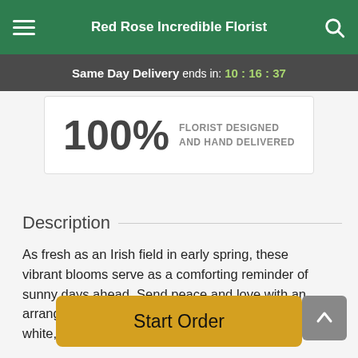Red Rose Incredible Florist
Same Day Delivery ends in: 10:16:37
100% FLORIST DESIGNED AND HAND DELIVERED
Description
As fresh as an Irish field in early spring, these vibrant blooms serve as a comforting reminder of sunny days ahead. Send peace and love with an arrangement overflowing with soothing shades of white, yellow, and green.
Start Order